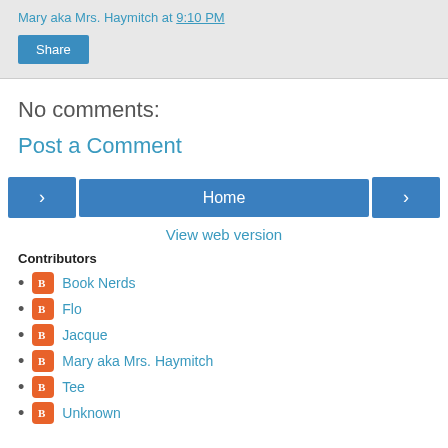Mary aka Mrs. Haymitch at 9:10 PM
Share
No comments:
Post a Comment
< Home >
View web version
Contributors
Book Nerds
Flo
Jacque
Mary aka Mrs. Haymitch
Tee
Unknown